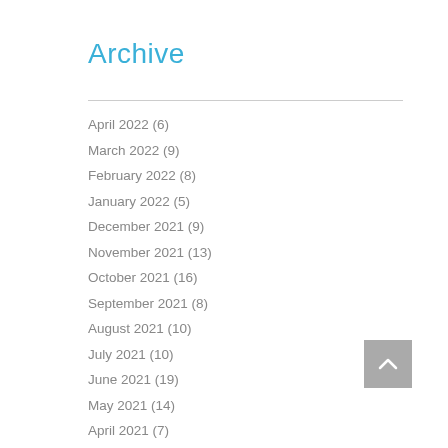Archive
April 2022 (6)
March 2022 (9)
February 2022 (8)
January 2022 (5)
December 2021 (9)
November 2021 (13)
October 2021 (16)
September 2021 (8)
August 2021 (10)
July 2021 (10)
June 2021 (19)
May 2021 (14)
April 2021 (7)
March 2021 (9)
February 2021 (10)
January 2021 (9)